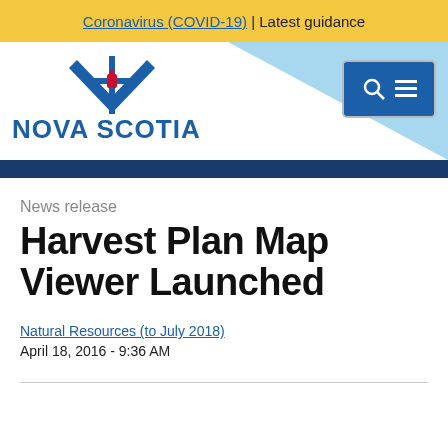Coronavirus (COVID-19) | Latest guidance
[Figure (logo): Nova Scotia government logo with stylized thistle emblem and text NOVA SCOTIA]
News release
Harvest Plan Map Viewer Launched
Natural Resources (to July 2018)
April 18, 2016 - 9:36 AM